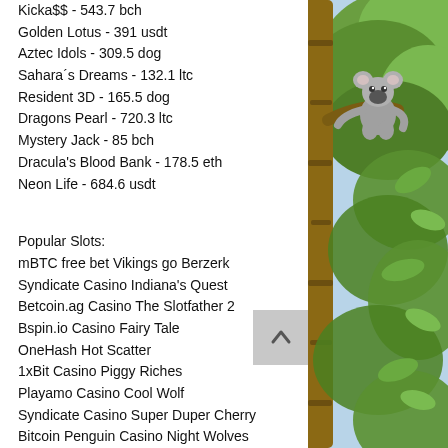Kicka$$ - 543.7 bch
Golden Lotus - 391 usdt
Aztec Idols - 309.5 dog
Sahara´s Dreams - 132.1 ltc
Resident 3D - 165.5 dog
Dragons Pearl - 720.3 ltc
Mystery Jack - 85 bch
Dracula's Blood Bank - 178.5 eth
Neon Life - 684.6 usdt
Popular Slots:
mBTC free bet Vikings go Berzerk
Syndicate Casino Indiana's Quest
Betcoin.ag Casino The Slotfather 2
Bspin.io Casino Fairy Tale
OneHash Hot Scatter
1xBit Casino Piggy Riches
Playamo Casino Cool Wolf
Syndicate Casino Super Duper Cherry
Bitcoin Penguin Casino Night Wolves
Oshi Casino Safari Sam
[Figure (photo): Photo of a koala in a tree with green foliage visible on the right side of the page]